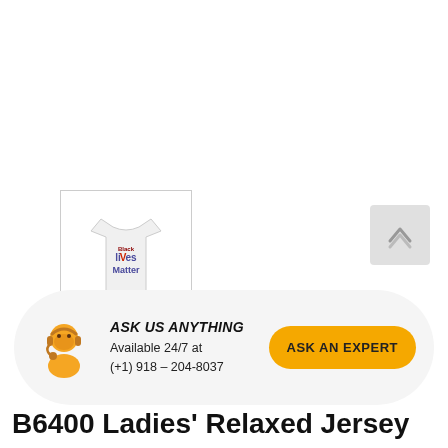[Figure (photo): Thumbnail image of a white t-shirt with 'Black Lives Matter' text printed on it, shown in a bordered box]
[Figure (illustration): Back to top arrow button, light gray rounded square with upward chevron]
ASK US ANYTHING
Available 24/7 at (+1) 918 – 204-8037
ASK AN EXPERT
B6400 Ladies' Relaxed Jersey